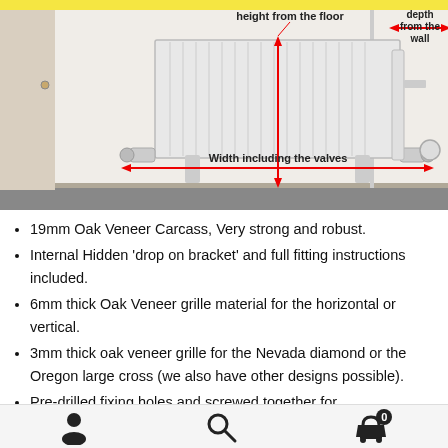[Figure (engineering-diagram): Radiator measurement diagram showing a radiator mounted on a wall. Red arrows indicate: 'height from the floor' (vertical arrow), 'Width including the valves' (horizontal arrow at bottom), and 'depth from the wall' (horizontal arrow at right side). Wall, floor, and door frame are visible.]
19mm Oak Veneer Carcass, Very strong and robust.
Internal Hidden ‘drop on bracket’ and full fitting instructions included.
6mm thick Oak Veneer grille material for the horizontal or vertical.
3mm thick oak veneer grille for the Nevada diamond or the Oregon large cross (we also have other designs possible).
Pre-drilled fixing holes and screwed together for
user icon | search icon | basket icon (0)